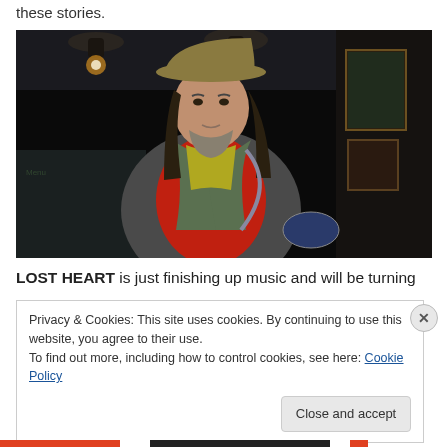these stories.
[Figure (photo): A man with long dark hair and a beard wearing a tan/khaki hat, red vest over a grey jacket, and a yellow-green scarf/tie, standing in a dimly lit bar or pub interior with chalkboard menus and warm Edison bulb lighting in the background.]
LOST HEART is just finishing up music and will be turning
Privacy & Cookies: This site uses cookies. By continuing to use this website, you agree to their use.
To find out more, including how to control cookies, see here: Cookie Policy
Close and accept